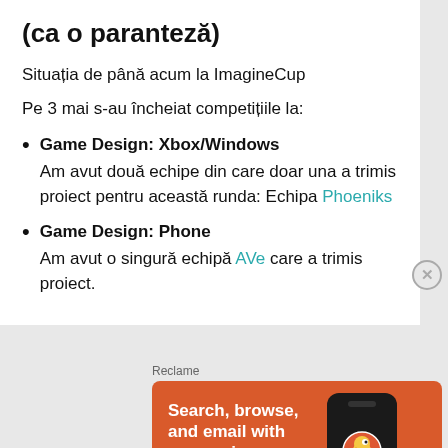(ca o paranteză)
Situația de până acum la ImagineCup
Pe 3 mai s-au încheiat competițiile la:
Game Design: Xbox/Windows
Am avut două echipe din care doar una a trimis proiect pentru această runda: Echipa Phoeniks
Game Design: Phone
Am avut o singură echipă AVe care a trimis proiect.
[Figure (screenshot): DuckDuckGo advertisement banner with orange background showing 'Search, browse, and email with more privacy. All in One Free App' with a phone graphic and DuckDuckGo logo]
Reclame